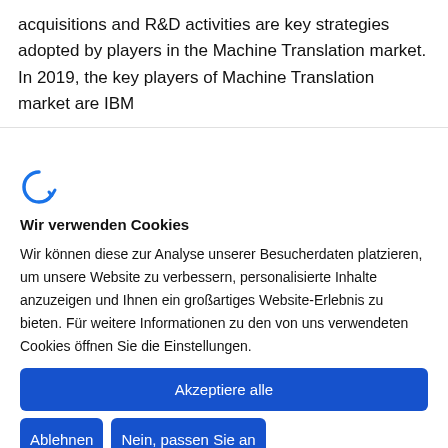acquisitions and R&D activities are key strategies adopted by players in the Machine Translation market. In 2019, the key players of Machine Translation market are IBM
[Figure (logo): Blue circular logo icon resembling the letter C with a curved arrow]
Wir verwenden Cookies
Wir können diese zur Analyse unserer Besucherdaten platzieren, um unsere Website zu verbessern, personalisierte Inhalte anzuzeigen und Ihnen ein großartiges Website-Erlebnis zu bieten. Für weitere Informationen zu den von uns verwendeten Cookies öffnen Sie die Einstellungen.
Akzeptiere alle
Ablehnen
Nein, passen Sie an